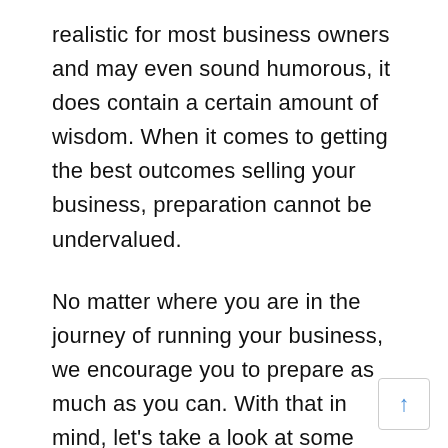realistic for most business owners and may even sound humorous, it does contain a certain amount of wisdom. When it comes to getting the best outcomes selling your business, preparation cannot be undervalued.
No matter where you are in the journey of running your business, we encourage you to prepare as much as you can. With that in mind, let's take a look at some considerations and decisions that you'll need to make when you do get ready to sell. It's never too early to begin pondering the answers to these questions.
If you are involved in the day-to-day running your business, logic would dictate that you're